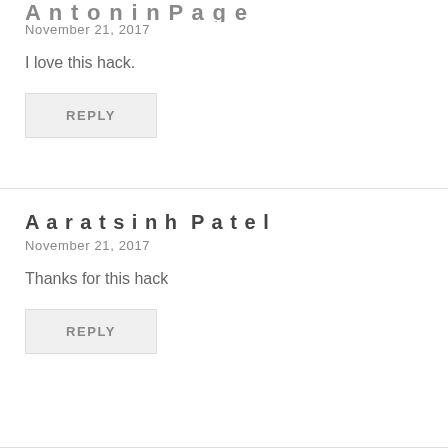November 21, 2017
I love this hack.
REPLY
Aaratsinh Patel
November 21, 2017
Thanks for this hack
REPLY